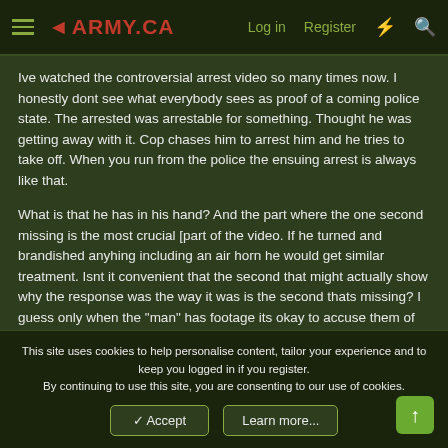≡ ◄ARMY.CA    Log in   Register   ⚡   🔍
Ive watched the controversial arrest video so many times now. I honestly dont see what everybody sees as proof of a coming police state. The arrested was arrestable for something. Thought he was getting away with it. Cop chases him to arrest him and he tries to take off. When you run from the police the ensuing arrest is always like that.
What is that he has in his hand? And the part where the one second missing is the most crucial [part of the video. If he turned and brandished anyhing including an air horn he would get similar treatment. Isnt it convenient that the second that might actually show why the response was the way it was is the second thats missing? I guess only when the "man" has footage its okay to accuse them of an agenda.
This site uses cookies to help personalise content, tailor your experience and to keep you logged in if you register.
By continuing to use this site, you are consenting to our use of cookies.
✓ Accept   Learn more...